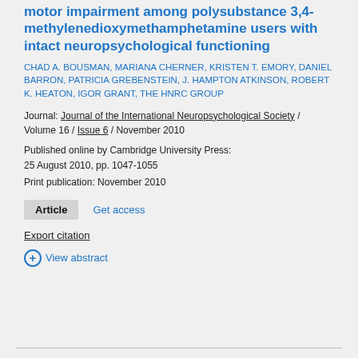motor impairment among polysubstance 3,4-methylenedioxymethamphetamine users with intact neuropsychological functioning
CHAD A. BOUSMAN, MARIANA CHERNER, KRISTEN T. EMORY, DANIEL BARRON, PATRICIA GREBENSTEIN, J. HAMPTON ATKINSON, ROBERT K. HEATON, IGOR GRANT, THE HNRC GROUP
Journal: Journal of the International Neuropsychological Society / Volume 16 / Issue 6 / November 2010
Published online by Cambridge University Press: 25 August 2010, pp. 1047-1055
Print publication: November 2010
Article   Get access
Export citation
+ View abstract